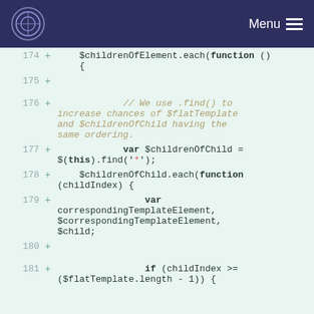Menu
[Figure (screenshot): Code diff view showing JavaScript lines 174-181 with line numbers, plus signs, and syntax-highlighted code on a light green background]